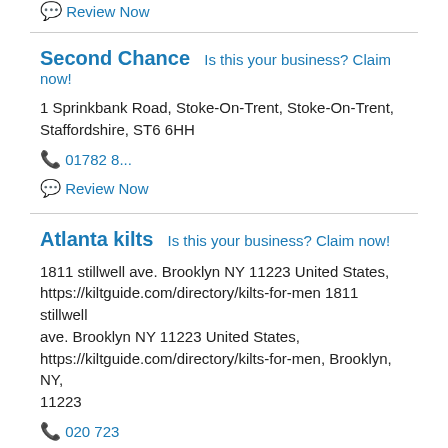💬 Review Now
Second Chance   Is this your business? Claim now!
1 Sprinkbank Road, Stoke-On-Trent, Stoke-On-Trent, Staffordshire, ST6 6HH
📞 01782 8...
💬 Review Now
Atlanta kilts   Is this your business? Claim now!
1811 stillwell ave. Brooklyn NY 11223 United States, https://kiltguide.com/directory/kilts-for-men 1811 stillwell ave. Brooklyn NY 11223 United States, https://kiltguide.com/directory/kilts-for-men, Brooklyn, NY, 11223
📞 020 723